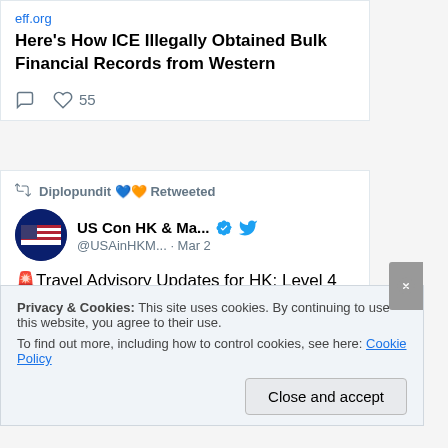eff.org
Here's How ICE Illegally Obtained Bulk Financial Records from Western
55
Diplopundit 💙🧡 Retweeted
US Con HK & Ma...  @USAinHKM...  · Mar 2
🚨Travel Advisory Updates for HK: Level 4 Do Not Travel (March 1, 2022) U.S. citizens should not travel to HK due to COVID-19 and related restrictions. The Department of State has no higher priority than the safety
Privacy & Cookies: This site uses cookies. By continuing to use this website, you agree to their use.
To find out more, including how to control cookies, see here: Cookie Policy
Close and accept